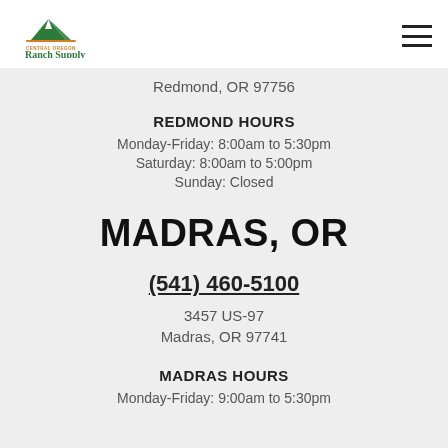Central Oregon Ranch Supply
Redmond, OR 97756
REDMOND HOURS
Monday-Friday: 8:00am to 5:30pm
Saturday: 8:00am to 5:00pm
Sunday: Closed
MADRAS, OR
(541) 460-5100
3457 US-97
Madras, OR 97741
MADRAS HOURS
Monday-Friday: 9:00am to 5:30pm